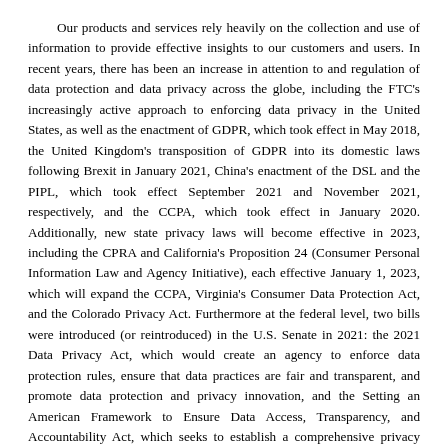Our products and services rely heavily on the collection and use of information to provide effective insights to our customers and users. In recent years, there has been an increase in attention to and regulation of data protection and data privacy across the globe, including the FTC's increasingly active approach to enforcing data privacy in the United States, as well as the enactment of GDPR, which took effect in May 2018, the United Kingdom's transposition of GDPR into its domestic laws following Brexit in January 2021, China's enactment of the DSL and the PIPL, which took effect September 2021 and November 2021, respectively, and the CCPA, which took effect in January 2020. Additionally, new state privacy laws will become effective in 2023, including the CPRA and California's Proposition 24 (Consumer Personal Information Law and Agency Initiative), each effective January 1, 2023, which will expand the CCPA, Virginia's Consumer Data Protection Act, and the Colorado Privacy Act. Furthermore at the federal level, two bills were introduced (or reintroduced) in the U.S. Senate in 2021: the 2021 Data Privacy Act, which would create an agency to enforce data protection rules, ensure that data practices are fair and transparent, and promote data protection and privacy innovation, and the Setting an American Framework to Ensure Data Access, Transparency, and Accountability Act, which seeks to establish a comprehensive privacy regime including many of the concepts found in other state and federal privacy bills and laws, such as consent requirements for entities providing services to the public that collect, store, process, use, or otherwise control sensitive personal information. Other data privacy or data protection laws or regulations are under consideration in other jurisdictions, both in the form of entirely new laws such as in India, and in the form of updates to existing, less onerous privacy laws,